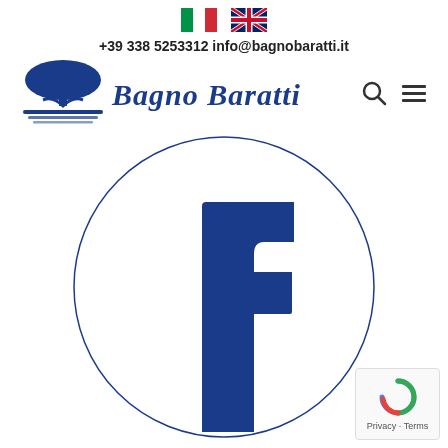[Figure (logo): Italian flag emoji]
[Figure (logo): UK flag emoji]
+39 338 5253312 info@bagnobaratti.it
[Figure (logo): Bagno Baratti tree logo with horizontal lines]
Bagno Baratti
[Figure (logo): Search icon]
[Figure (logo): Hamburger menu icon]
[Figure (illustration): Large Facebook 'f' logo inside a circle outline]
[Figure (logo): Google reCAPTCHA badge with Privacy and Terms text]